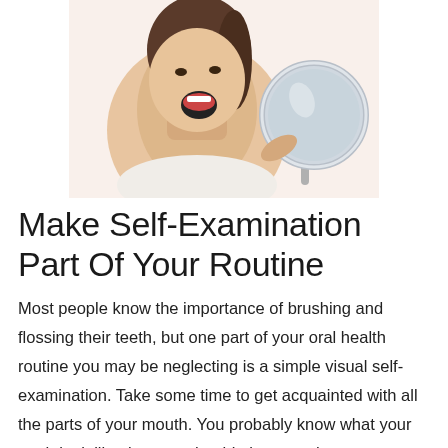[Figure (photo): Woman with mouth wide open screaming at a round handheld magnifying mirror, wearing a white sleeveless top, white background]
Make Self-Examination Part Of Your Routine
Most people know the importance of brushing and flossing their teeth, but one part of your oral health routine you may be neglecting is a simple visual self-examination. Take some time to get acquainted with all the parts of your mouth. You probably know what your teeth look like, but you should also note the appearance of your tongue,